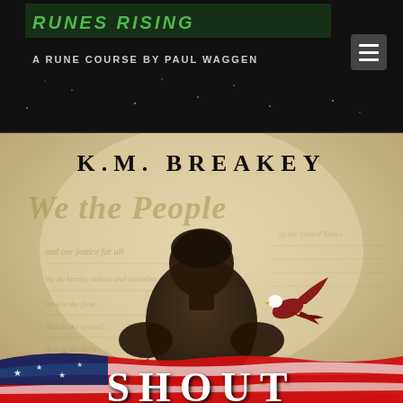[Figure (screenshot): Website header banner with dark background, green stylized title text (partially visible), subtitle 'A RUNE COURSE BY PAUL WAGGEN' visible, and hamburger menu icon on the right]
[Figure (photo): Book cover for K.M. Breakey. Shows author name 'K.M. BREAKEY' at top in large serif font. Background is a parchment-style U.S. Constitution with 'We the People' text visible. Center shows a man viewed from behind with dark hair. An American flag is draped in the foreground. A bald eagle flies in the lower right. The bottom shows partial book title letters 'SHOUT' in large white font.]